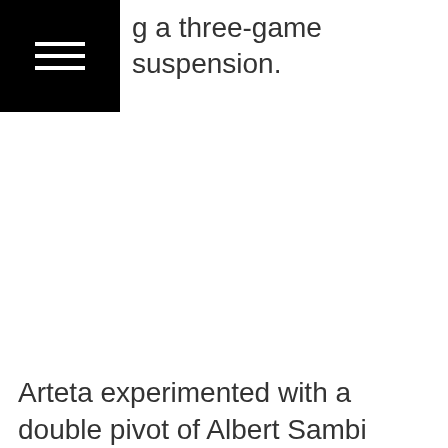[menu icon]
g a three-game suspension.
Arteta experimented with a double pivot of Albert Sambi